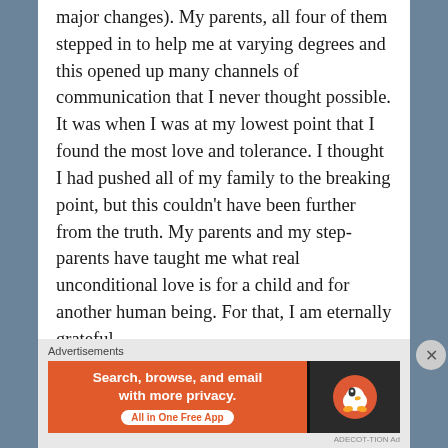major changes).  My parents, all four of them stepped in to help me at varying degrees and this opened up many channels of communication that I never thought possible.  It was when I was at my lowest point that I found the most love and tolerance.  I thought I had pushed all of my family to the breaking point, but this couldn't have been further from the truth.  My parents and my step-parents have taught me what real unconditional love is for a child and for another human being.  For that, I am eternally grateful.
This brings me to the present.  I am now
Advertisements
[Figure (other): DuckDuckGo advertisement banner: orange left section with text 'Search, browse, and email with more privacy. All in One Free App', dark right section with DuckDuckGo duck logo]